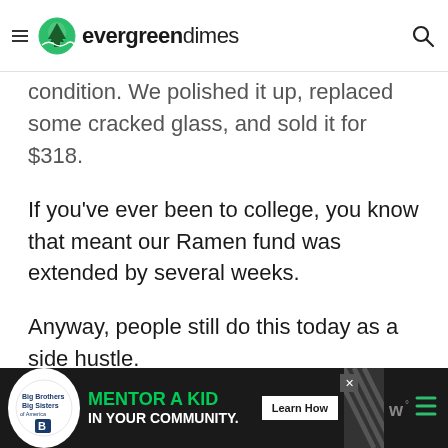evergreendimes
condition. We polished it up, replaced some cracked glass, and sold it for $318.
If you've ever been to college, you know that meant our Ramen fund was extended by several weeks.
Anyway, people still do this today as a side hustle.
That means you can easily find buyers for your old sofa, dining room set, cabinets, and other fu...
[Figure (screenshot): Big Brothers Big Sisters advertisement banner: MENTOR A KID IN YOUR COMMUNITY. Learn How button.]